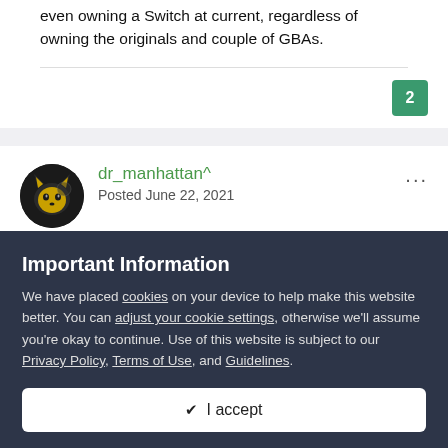even owning a Switch at current, regardless of owning the originals and couple of GBAs.
2
dr_manhattan^
Posted June 22, 2021
On 22/06/2021 at 07:42, LayeDisee said:
Important Information
We have placed cookies on your device to help make this website better. You can adjust your cookie settings, otherwise we'll assume you're okay to continue. Use of this website is subject to our Privacy Policy, Terms of Use, and Guidelines.
✔ I accept